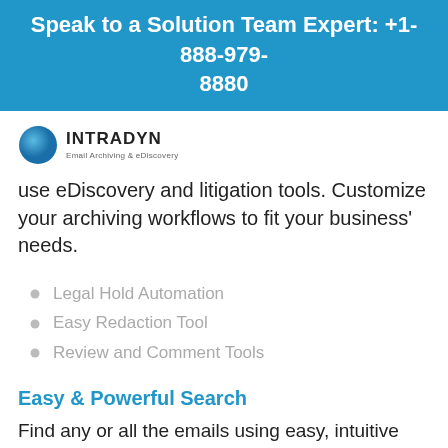Speak to a Solution Team Expert: +1-888-979-8880
[Figure (logo): Intradyn logo — blue circle with text INTRADYN and subtitle Email Archiving & eDiscovery]
use eDiscovery and litigation tools. Customize your archiving workflows to fit your business' needs.
Legal Hold Automation
Easy Redaction Tool
Review and Comment Tools
Easy & Powerful Search
Find any or all the emails using easy, intuitive and powerful search, even typos or misspellings are covered by fuzzy logic. Search capabilities include location, names, certain criteria, specific attributes